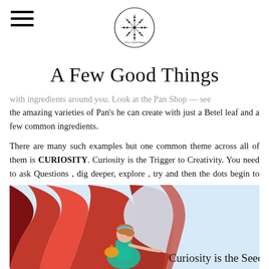A Few Good Things
with ingredients around you. Look at the Pan Shop — see the amazing varieties of Pan's he can create with just a Betel leaf and a few common ingredients.
There are many such examples but one common theme across all of them is CURIOSITY. Curiosity is the Trigger to Creativity. You need to ask Questions , dig deeper, explore , try and then the dots begin to connect.
[Figure (illustration): Illustration of a girl in a blue dress opening a large red curtain, with text 'Curiosity is the Seed' at the bottom right]